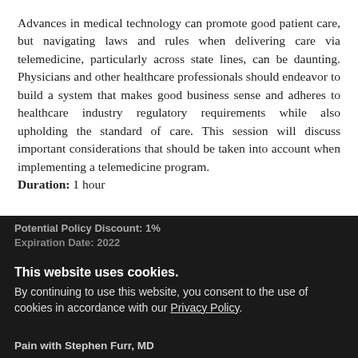Advances in medical technology can promote good patient care, but navigating laws and rules when delivering care via telemedicine, particularly across state lines, can be daunting. Physicians and other healthcare professionals should endeavor to build a system that makes good business sense and adheres to healthcare industry regulatory requirements while also upholding the standard of care. This session will discuss important considerations that should be taken into account when implementing a telemedicine program.
Duration: 1 hour
Potential Policy Discount: 1%
Expiration Date: [date] 2022
This website uses cookies. By continuing to use this website, you consent to the use of cookies in accordance with our Privacy Policy.
Pain with Stephen Furr, MD
CDC Guidelines for Prescribing Opioi...